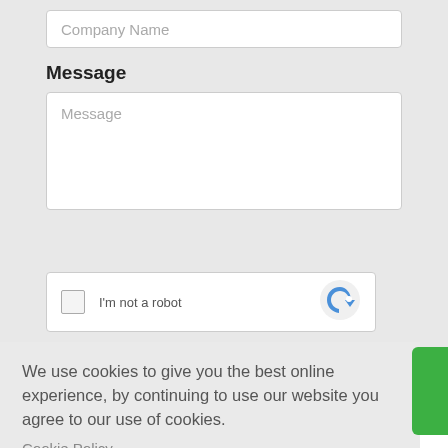Company Name
Message
Message
[Figure (other): reCAPTCHA widget with checkbox and 'I'm not a robot' text and reCAPTCHA logo]
We use cookies to give you the best online experience, by continuing to use our website you agree to our use of cookies.
Cookie Policy
Got it!
Allow cookies
Amez'and LTD